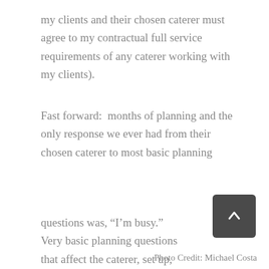my clients and their chosen caterer must agree to my contractual full service requirements of any caterer working with my clients).
Fast forward:  months of planning and the only response we ever had from their chosen caterer to most basic planning
questions was, “I’m busy.”  Very basic planning questions that affect the caterer, set up, timing and event flow that integrated the caterer were apparently either too insignificant
Photo Credit: Michael Costa